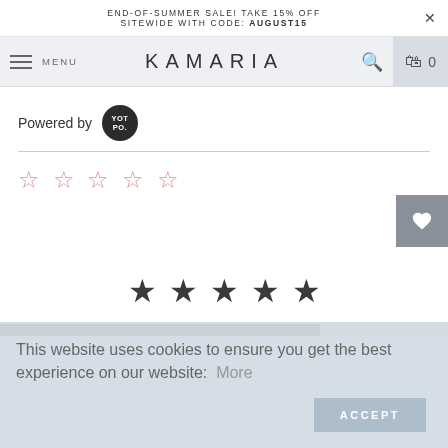END-OF-SUMMER SALE! TAKE 15% OFF SITEWIDE WITH CODE: AUGUST15
MENU | KAMARIA | 0
Powered by YOT PO.
[Figure (other): Five empty star rating icons in pink/rose color]
[Figure (other): Five filled dark star rating icons centered on the page]
[Figure (other): Horizontal dark gray progress bar]
This website uses cookies to ensure you get the best experience on our website: More
ACCEPT